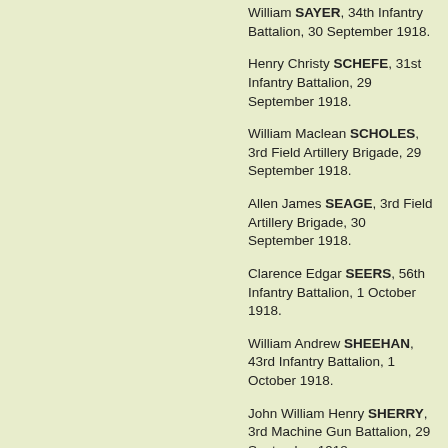William SAYER, 34th Infantry Battalion, 30 September 1918.
Henry Christy SCHEFE, 31st Infantry Battalion, 29 September 1918.
William Maclean SCHOLES, 3rd Field Artillery Brigade, 29 September 1918.
Allen James SEAGE, 3rd Field Artillery Brigade, 30 September 1918.
Clarence Edgar SEERS, 56th Infantry Battalion, 1 October 1918.
William Andrew SHEEHAN, 43rd Infantry Battalion, 1 October 1918.
John William Henry SHERRY, 3rd Machine Gun Battalion, 29 September 1918.
William Laurence Joseph SIMMONS, 43rd Infantry Battalion, 29 September 1918.